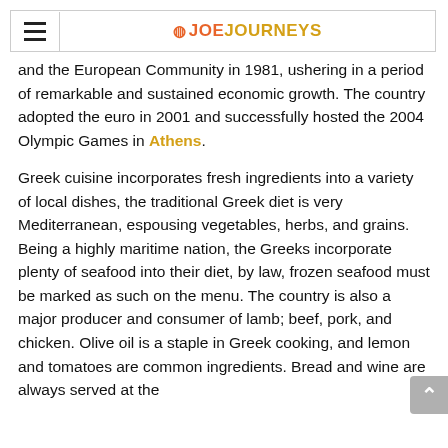☆ JOEJOURNEYS
and the European Community in 1981, ushering in a period of remarkable and sustained economic growth. The country adopted the euro in 2001 and successfully hosted the 2004 Olympic Games in Athens.
Greek cuisine incorporates fresh ingredients into a variety of local dishes, the traditional Greek diet is very Mediterranean, espousing vegetables, herbs, and grains. Being a highly maritime nation, the Greeks incorporate plenty of seafood into their diet, by law, frozen seafood must be marked as such on the menu. The country is also a major producer and consumer of lamb; beef, pork, and chicken. Olive oil is a staple in Greek cooking, and lemon and tomatoes are common ingredients. Bread and wine are always served at the